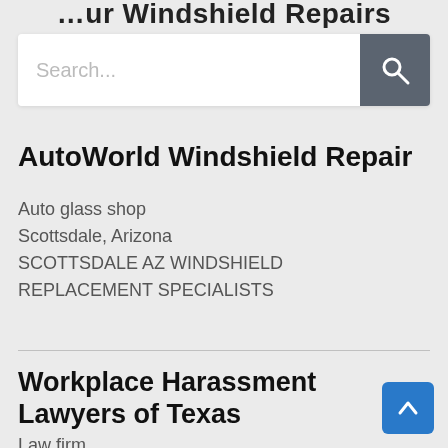…ur Windshield Repairs
[Figure (screenshot): Search bar with text input field and magnifying glass search button on grey background]
AutoWorld Windshield Repair
Auto glass shop
Scottsdale, Arizona
SCOTTSDALE AZ WINDSHIELD REPLACEMENT SPECIALISTS
Workplace Harassment Lawyers of Texas
Law firm
Dallas, TX